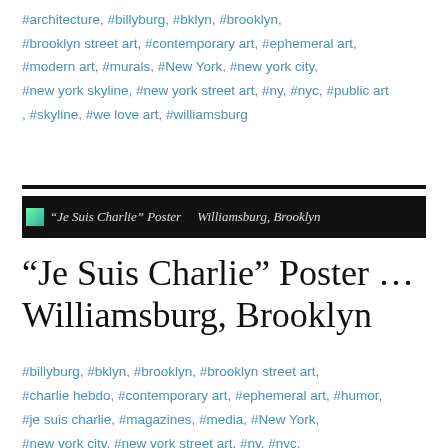#architecture, #billyburg, #bklyn, #brooklyn, #brooklyn street art, #contemporary art, #ephemeral art, #modern art, #murals, #New York, #new york city, #new york skyline, #new york street art, #ny, #nyc, #public art, #skyline, #we love art, #williamsburg
[Figure (screenshot): Black banner with small thumbnail image and text reading '"Je Suis Charlie" Poster ... Williamsburg, Brooklyn']
“Je Suis Charlie” Poster ... Williamsburg, Brooklyn
#billyburg, #bklyn, #brooklyn, #brooklyn street art, #charlie hebdo, #contemporary art, #ephemeral art, #humor, #je suis charlie, #magazines, #media, #New York, #new york city, #new york street art, #ny, #nyc, #political street art, #public art, #satire, #williamsburg